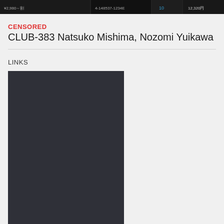[Figure (screenshot): Dark banner image strip at top of page showing product thumbnails and Japanese text]
CENSORED
CLUB-383 Natsuko Mishima, Nozomi Yuikawa
LINKS
[Figure (other): Dark rectangle placeholder for links content area]